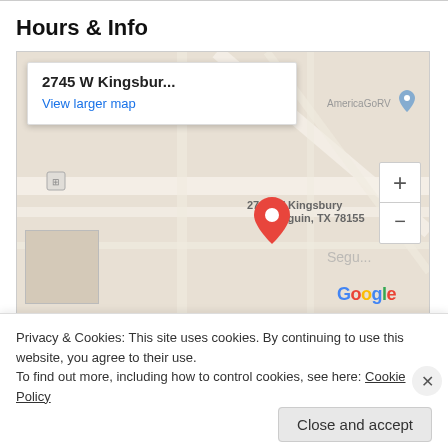Hours & Info
[Figure (map): Google Maps embed showing 2745 W Kingsbury St, Seguin, TX 78155 with a location pin and zoom controls]
Privacy & Cookies: This site uses cookies. By continuing to use this website, you agree to their use.
To find out more, including how to control cookies, see here: Cookie Policy
Close and accept